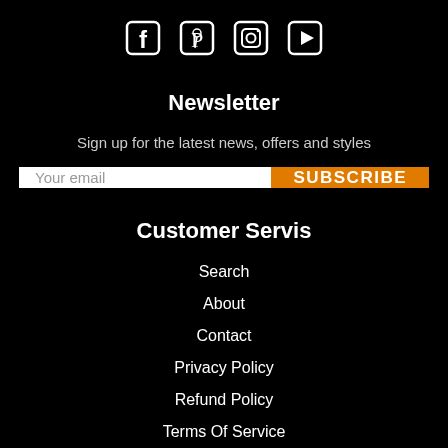[Figure (infographic): Social media icons: Facebook, Pinterest, Instagram, YouTube]
Newsletter
Sign up for the latest news, offers and styles
Your email   SUBSCRIBE
Customer Servis
Search
About
Contact
Privacy Policy
Refund Policy
Terms Of Service